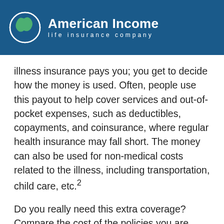American Income life insurance company
illness insurance pays you; you get to decide how the money is used. Often, people use this payout to help cover services and out-of-pocket expenses, such as deductibles, copayments, and coinsurance, where regular health insurance may fall short. The money can also be used for non-medical costs related to the illness, including transportation, child care, etc.²
Do you really need this extra coverage? Compare the cost of the policies you are considering with how much you would pay out of pocket for a critical illness, and decide if you would be able to absorb the costs without it for the critical…